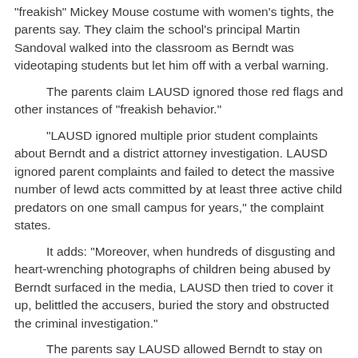"freakish" Mickey Mouse costume with women's tights, the parents say. They claim the school's principal Martin Sandoval walked into the classroom as Berndt was videotaping students but let him off with a verbal warning.
The parents claim LAUSD ignored those red flags and other instances of "freakish behavior."
"LAUSD ignored multiple prior student complaints about Berndt and a district attorney investigation. LAUSD ignored parent complaints and failed to detect the massive number of lewd acts committed by at least three active child predators on one small campus for years," the complaint states.
It adds: "Moreover, when hundreds of disgusting and heart-wrenching photographs of children being abused by Berndt surfaced in the media, LAUSD then tried to cover it up, belittled the accusers, buried the story and obstructed the criminal investigation."
The parents say LAUSD allowed Berndt to stay on campus after the allegations surfaced, then tried to blame the parents for not detecting the abuse.